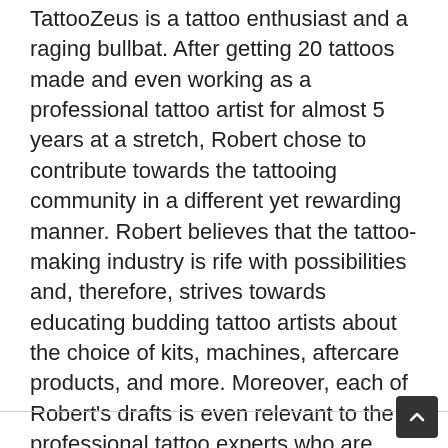TattooZeus is a tattoo enthusiast and a raging bullbat. After getting 20 tattoos made and even working as a professional tattoo artist for almost 5 years at a stretch, Robert chose to contribute towards the tattooing community in a different yet rewarding manner. Robert believes that the tattoo-making industry is rife with possibilities and, therefore, strives towards educating budding tattoo artists about the choice of kits, machines, aftercare products, and more. Moreover, each of Robert's drafts is even relevant to the professional tattoo experts who are seeking additional insights into exclusive products and accessories.